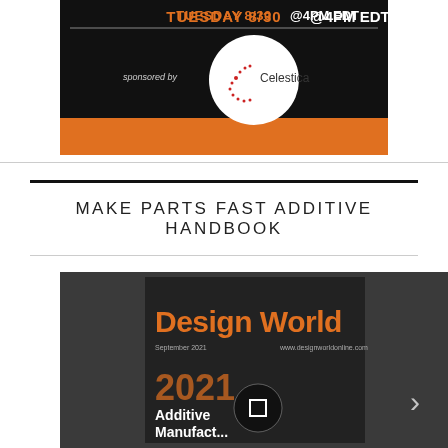[Figure (screenshot): Webinar banner: TUESDAY 8/30 @4PM EDT, black background with orange bar, sponsored by Celestica logo in white circle]
MAKE PARTS FAST ADDITIVE HANDBOOK
[Figure (screenshot): Design World magazine cover September 2021, 2021 Additive Manufacturing issue, dark background with orange Design World title text]